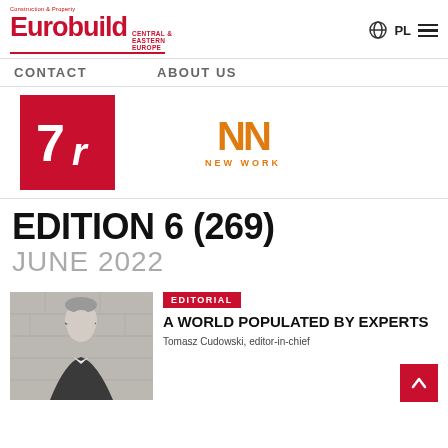Eurobuild Central & Eastern Europe — Construction & Property
CONTACT   ABOUT US
[Figure (logo): 7R logo: white number 7 and letter r on red square background]
[Figure (logo): NN New Work logo: stylized NN letters in orange with NEW WORK text below]
EDITION 6 (269)
JUNE 2022
[Figure (photo): Portrait photo of a middle-aged man with glasses wearing a dark suit jacket and white shirt, against a light stone wall background]
EDITORIAL
A WORLD POPULATED BY EXPERTS
Tomasz Cudowski, editor-in-chief